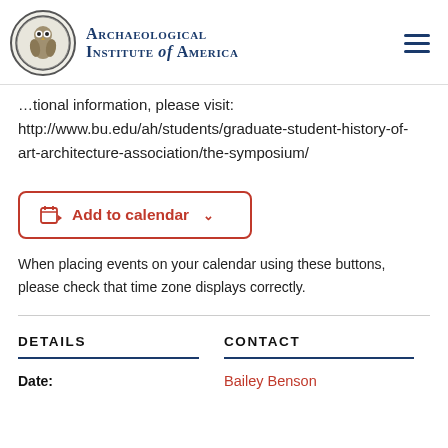Archaeological Institute of America
…tional information, please visit: http://www.bu.edu/ah/students/graduate-student-history-of-art-architecture-association/the-symposium/
[Figure (other): Add to calendar button with calendar icon and dropdown caret]
When placing events on your calendar using these buttons, please check that time zone displays correctly.
DETAILS
CONTACT
Date:
Bailey Benson